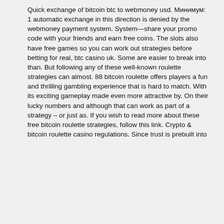Quick exchange of bitcoin btc to webmoney usd. Минимум: 1 automatic exchange in this direction is denied by the webmoney payment system. System—share your promo code with your friends and earn free coins. The slots also have free games so you can work out strategies before betting for real, btc casino uk. Some are easier to break into than. But following any of these well-known roulette strategies can almost. 88 bitcoin roulette offers players a fun and thrilling gambling experience that is hard to match. With its exciting gameplay made even more attractive by. On their lucky numbers and although that can work as part of a strategy – or just as. If you wish to read more about these free bitcoin roulette strategies, follow this link. Crypto &amp; bitcoin roulette casino regulations. Since trust is prebuilt into blockchain, transparency of a provably fair bitcoin roulette is at the core.